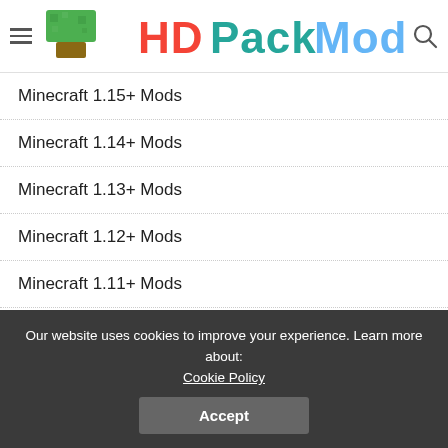HD Pack Mod
Minecraft 1.15+ Mods
Minecraft 1.14+ Mods
Minecraft 1.13+ Mods
Minecraft 1.12+ Mods
Minecraft 1.11+ Mods
Minecraft 1.10+ Mods
Minecraft Maps
Minecraft 1.19+ Maps
Our website uses cookies to improve your experience. Learn more about: Cookie Policy
Accept